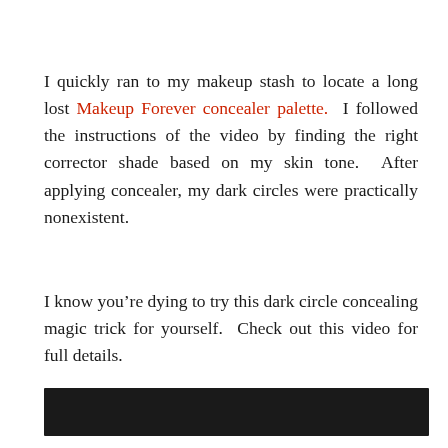I quickly ran to my makeup stash to locate a long lost Makeup Forever concealer palette. I followed the instructions of the video by finding the right corrector shade based on my skin tone. After applying concealer, my dark circles were practically nonexistent.
I know you’re dying to try this dark circle concealing magic trick for yourself. Check out this video for full details.
[Figure (other): Black redacted/video bar at the bottom of the text block]